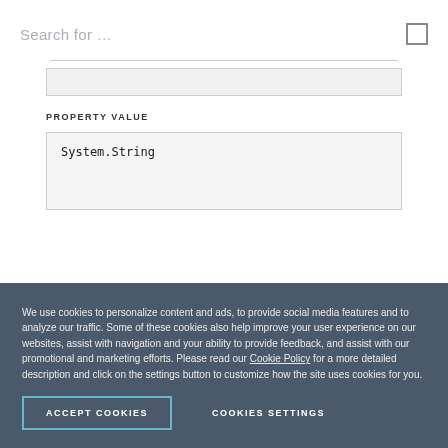Search for …
PROPERTY VALUE
System.String
We use cookies to personalize content and ads, to provide social media features and to analyze our traffic. Some of these cookies also help improve your user experience on our websites, assist with navigation and your ability to provide feedback, and assist with our promotional and marketing efforts. Please read our Cookie Policy for a more detailed description and click on the settings button to customize how the site uses cookies for you.
ACCEPT COOKIES
COOKIES SETTINGS